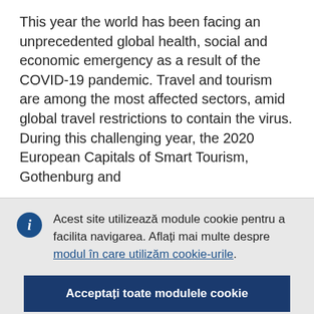This year the world has been facing an unprecedented global health, social and economic emergency as a result of the COVID-19 pandemic. Travel and tourism are among the most affected sectors, amid global travel restrictions to contain the virus. During this challenging year, the 2020 European Capitals of Smart Tourism, Gothenburg and
Acest site utilizează module cookie pentru a facilita navigarea. Aflați mai multe despre modul în care utilizăm cookie-urile.
Acceptați toate modulele cookie
Acceptați doar cookie-urile esențiale